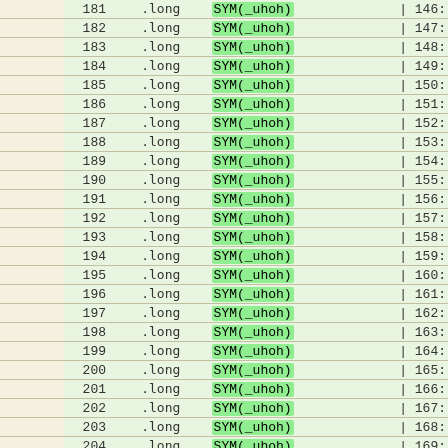|  | line | code | comment |
| --- | --- | --- | --- |
|  | 181 | .long   SYM(_uhoh) | | 146: |
|  | 182 | .long   SYM(_uhoh) | | 147: |
|  | 183 | .long   SYM(_uhoh) | | 148: |
|  | 184 | .long   SYM(_uhoh) | | 149: |
|  | 185 | .long   SYM(_uhoh) | | 150: |
|  | 186 | .long   SYM(_uhoh) | | 151: |
|  | 187 | .long   SYM(_uhoh) | | 152: |
|  | 188 | .long   SYM(_uhoh) | | 153: |
|  | 189 | .long   SYM(_uhoh) | | 154: |
|  | 190 | .long   SYM(_uhoh) | | 155: |
|  | 191 | .long   SYM(_uhoh) | | 156: |
|  | 192 | .long   SYM(_uhoh) | | 157: |
|  | 193 | .long   SYM(_uhoh) | | 158: |
|  | 194 | .long   SYM(_uhoh) | | 159: |
|  | 195 | .long   SYM(_uhoh) | | 160: |
|  | 196 | .long   SYM(_uhoh) | | 161: |
|  | 197 | .long   SYM(_uhoh) | | 162: |
|  | 198 | .long   SYM(_uhoh) | | 163: |
|  | 199 | .long   SYM(_uhoh) | | 164: |
|  | 200 | .long   SYM(_uhoh) | | 165: |
|  | 201 | .long   SYM(_uhoh) | | 166: |
|  | 202 | .long   SYM(_uhoh) | | 167: |
|  | 203 | .long   SYM(_uhoh) | | 168: |
|  | 204 | .long   SYM(_uhoh) | | 169: |
|  | 205 | .long   SYM(_uhoh) | | 170: |
|  | 206 | .long   SYM(_uhoh) | | 171: |
|  | 207 | .long   SYM(_uhoh) | | 172: |
|  | 208 | .long   SYM(_uhoh) | | 173: |
|  | 209 | .long   SYM(_uhoh) | | 174: |
|  | 210 | .long   SYM(_uhoh) | | 175: |
|  | 211 | .long   SYM(_uhoh) | | 176: |
|  | 212 | .long   SYM(_uhoh) | | 177: |